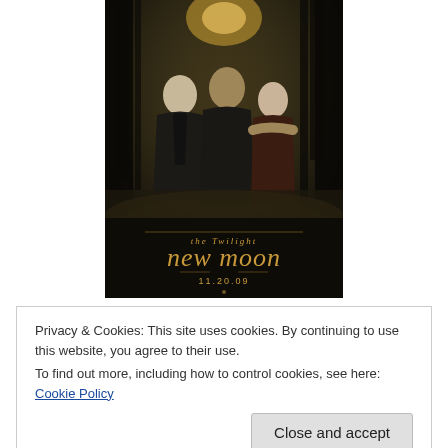[Figure (photo): Movie poster for Twilight: New Moon showing three characters in a dark forest setting with text 'the twilight new moon 11.20.09']
Privacy & Cookies: This site uses cookies. By continuing to use this website, you agree to their use.
To find out more, including how to control cookies, see here: Cookie Policy
Close and accept
the first Twilight film, minus a brief diversion of vampire